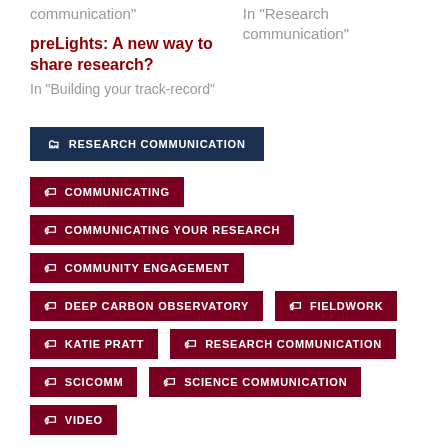communication"
In "Research communication"
preLights: A new way to share research?
In "Building your track-record"
RESEARCH COMMUNICATION
COMMUNICATING
COMMUNICATING YOUR RESEARCH
COMMUNITY ENGAGEMENT
DEEP CARBON OBSERVATORY
FIELDWORK
KATIE PRATT
RESEARCH COMMUNICATION
SCICOMM
SCIENCE COMMUNICATION
VIDEO